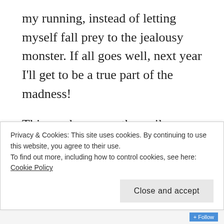my running, instead of letting myself fall prey to the jealousy monster. If all goes well, next year I'll get to be a true part of the madness!
This week was another mileage test for me–I ran 52.9 miles total and truly didn't feel any sluggishness at all! My major lesson learned in terms of adding mileage is to skew the additional miles towards easy/recovery runs. I'm really thriving with some harder workouts on Tuesdays/Thursdays, long runs on Saturdays, and keeping the rest nice and easy pace-wise
Privacy & Cookies: This site uses cookies. By continuing to use this website, you agree to their use.
To find out more, including how to control cookies, see here: Cookie Policy